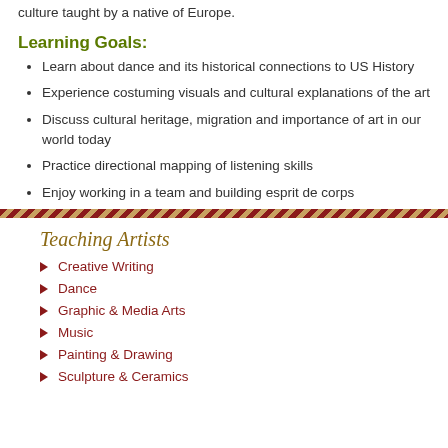culture taught by a native of Europe.
Learning Goals:
Learn about dance and its historical connections to US History
Experience costuming visuals and cultural explanations of the art
Discuss cultural heritage, migration and importance of art in our world today
Practice directional mapping of listening skills
Enjoy working in a team and building esprit de corps
Teaching Artists
Creative Writing
Dance
Graphic & Media Arts
Music
Painting & Drawing
Sculpture & Ceramics